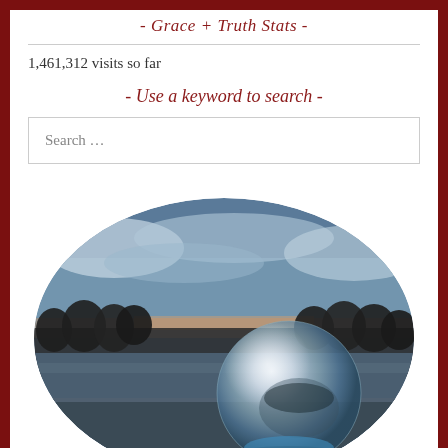- Grace + Truth Stats -
1,461,312 visits so far
- Use a keyword to search -
Search …
[Figure (photo): Circular cropped photograph showing a glass crystal ball resting on a surface outdoors, with a blurred background of trees, skyline, and cloudy sky at dusk/dawn with orange light on the horizon.]